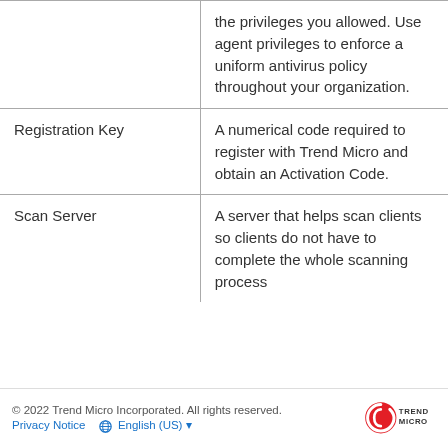| Term | Definition |
| --- | --- |
|  | the privileges you allowed. Use agent privileges to enforce a uniform antivirus policy throughout your organization. |
| Registration Key | A numerical code required to register with Trend Micro and obtain an Activation Code. |
| Scan Server | A server that helps scan clients so clients do not have to complete the whole scanning process |
© 2022 Trend Micro Incorporated. All rights reserved. Privacy Notice  English (US)